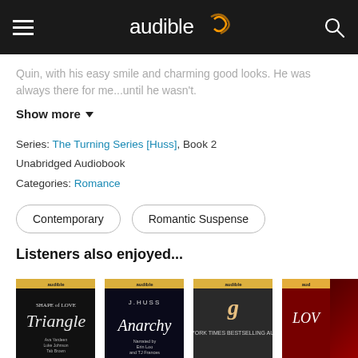audible
Quin, with his easy smile and charming good looks. He was always there for me...until he wasn't.
Show more
Series: The Turning Series [Huss], Book 2
Unabridged Audiobook
Categories: Romance
Contemporary
Romantic Suspense
Listeners also enjoyed...
[Figure (photo): Book cover: Shape of Love - The Triangle]
[Figure (photo): Book cover: Anarchy by J. Huss]
[Figure (photo): Book cover: romance novel with male model]
[Figure (photo): Book cover: partially visible love/romance]